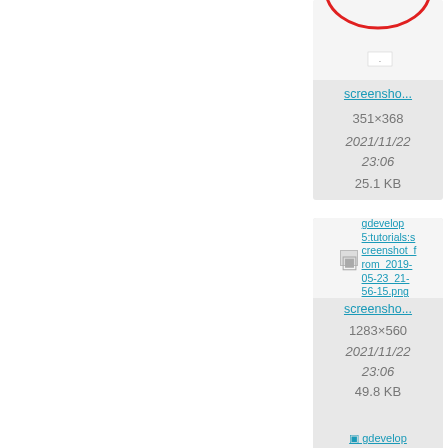[Figure (screenshot): File gallery/grid view showing image thumbnails with metadata. Left column shows a partial screenshot thumbnail with a red oval outline, filename 'screensho...', dimensions 351×368, date 2021/11/22 23:06, size 25.1 KB. Right column (partially cut off) shows 'rom_05-2_35-2_screen...' with dimensions 769×..., date 2021/..., time 23:..., size 11.9... Second row left: gdevelop5:tutorials:screenshot_from_2019-05-23_21-56-15.png link, filename 'screensho...', dimensions 1283×560, date 2021/11/22 23:06, size 49.8 KB. Second row right (partially cut off): gdevelop5:tuto..., screenshot, 1298×..., 2021/..., 23:..., 17.4... Third row (partial): left shows gdevelop5:tutorials:... link beginning.]